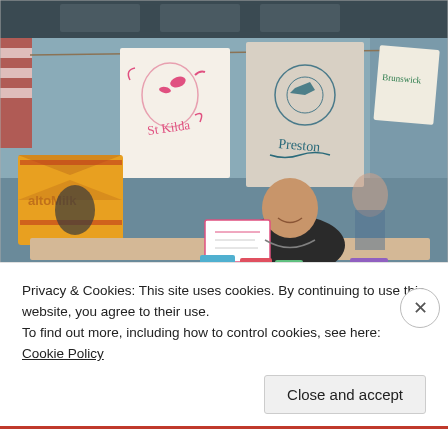[Figure (photo): Indoor craft market stall with a bald man sitting behind a table. Fabric banners hanging above reading 'St Kilda', 'Preston', and 'Brunswick'. Colorful patterned bags and cushions on display. A 'MaltoMilk' branded item visible on the right side.]
Privacy & Cookies: This site uses cookies. By continuing to use this website, you agree to their use.
To find out more, including how to control cookies, see here: Cookie Policy
Close and accept